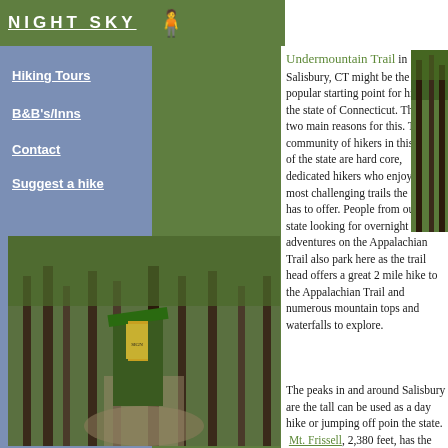NIGHT SKY
Hiking Tours
B&B's/Inns
Contact
Suggest a hike
[Figure (photo): Trail photo showing forested path with trail sign kiosk]
Undermountain Trail in Salisbury, CT might be the most popular starting point for hikers in the state of Connecticut. There are two main reasons for this. The community of hikers in this part of the state are hard core, dedicated hikers who enjoy the most challenging trails the state has to offer. People from out of state looking for overnight adventures on the Appalachian Trail also park here as the trail head offers a great 2 mile hike to the Appalachian Trail and numerous mountain tops and waterfalls to explore.
[Figure (photo): Forest trees photo on right side]
The peaks in and around Salisbury are the tallest in the state and can be used as a day hike or jumping off point for the highest peaks in the state. Mt. Frissell, 2,380 feet, has the highest point at a short distance from the peak which is in Massachusetts (Bear Mountain, 2,316 feet), Lion's Head, and Mt. Everett (just over the border) are all accessible from the Undermountain Trail. All these peaks are tough climbs, even hikers from Georgia have commented that the terrain in this area is tougher than any along the Appalachian Trail. You must be...